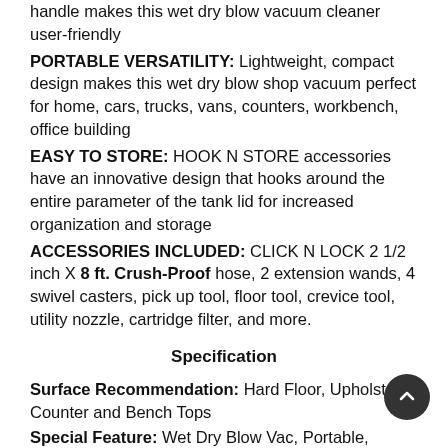handle makes this wet dry blow vacuum cleaner user-friendly
PORTABLE VERSATILITY: Lightweight, compact design makes this wet dry blow shop vacuum perfect for home, cars, trucks, vans, counters, workbench, office building
EASY TO STORE: HOOK N STORE accessories have an innovative design that hooks around the entire parameter of the tank lid for increased organization and storage
ACCESSORIES INCLUDED: CLICK N LOCK 2 1/2 inch X 8 ft. Crush-Proof hose, 2 extension wands, 4 swivel casters, pick up tool, floor tool, crevice tool, utility nozzle, cartridge filter, and more.
Specification
Surface Recommendation: Hard Floor, Upholstery, Counter and Bench Tops
Special Feature: Wet Dry Blow Vac, Portable, Lightweight, Compact, Click N Lock EVA Hose, Hook N